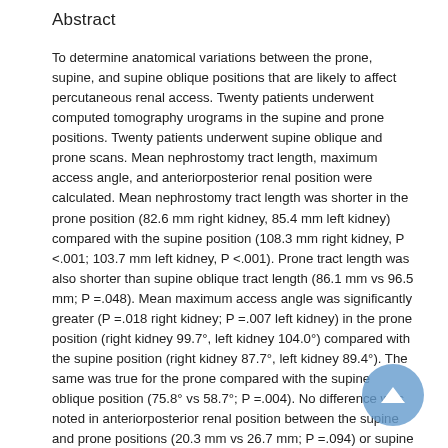Abstract
To determine anatomical variations between the prone, supine, and supine oblique positions that are likely to affect percutaneous renal access. Twenty patients underwent computed tomography urograms in the supine and prone positions. Twenty patients underwent supine oblique and prone scans. Mean nephrostomy tract length, maximum access angle, and anteriorposterior renal position were calculated. Mean nephrostomy tract length was shorter in the prone position (82.6 mm right kidney, 85.4 mm left kidney) compared with the supine position (108.3 mm right kidney, P <.001; 103.7 mm left kidney, P <.001). Prone tract length was also shorter than supine oblique tract length (86.1 mm vs 96.5 mm; P =.048). Mean maximum access angle was significantly greater (P =.018 right kidney; P =.007 left kidney) in the prone position (right kidney 99.7°, left kidney 104.0°) compared with the supine position (right kidney 87.7°, left kidney 89.4°). The same was true for the prone compared with the supine oblique position (75.8° vs 58.7°; P =.004). No difference was noted in anteriorposterior renal position between the supine and prone positions (20.3 mm vs 26.7 mm; P =.094) or supine oblique and prone positions (22.8 mm vs 15.6 mm; P =.45). The prone position is